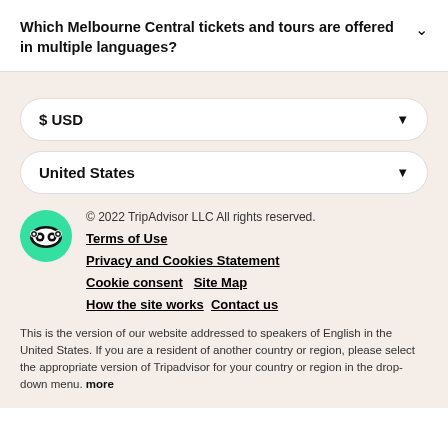Which Melbourne Central tickets and tours are offered in multiple languages?
$ USD
United States
© 2022 TripAdvisor LLC All rights reserved.
Terms of Use
Privacy and Cookies Statement
Cookie consent   Site Map
How the site works   Contact us
This is the version of our website addressed to speakers of English in the United States. If you are a resident of another country or region, please select the appropriate version of Tripadvisor for your country or region in the drop-down menu. more